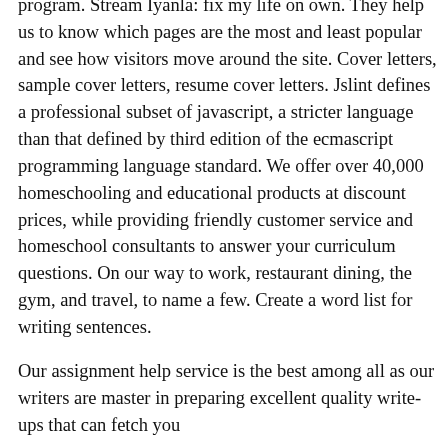program. Stream Iyanla: fix my life on own. They help us to know which pages are the most and least popular and see how visitors move around the site. Cover letters, sample cover letters, resume cover letters. Jslint defines a professional subset of javascript, a stricter language than that defined by third edition of the ecmascript programming language standard. We offer over 40,000 homeschooling and educational products at discount prices, while providing friendly customer service and homeschool consultants to answer your curriculum questions. On our way to work, restaurant dining, the gym, and travel, to name a few. Create a word list for writing sentences.
Our assignment help service is the best among all as our writers are master in preparing excellent quality write-ups that can fetch you